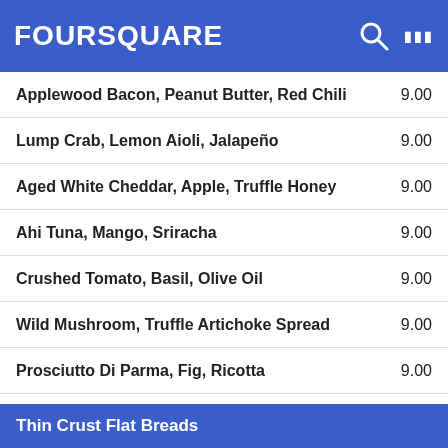FOURSQUARE
Applewood Bacon, Peanut Butter, Red Chili  9.00
Lump Crab, Lemon Aioli, Jalapeño  9.00
Aged White Cheddar, Apple, Truffle Honey  9.00
Ahi Tuna, Mango, Sriracha  9.00
Crushed Tomato, Basil, Olive Oil  9.00
Wild Mushroom, Truffle Artichoke Spread  9.00
Prosciutto Di Parma, Fig, Ricotta  9.00
Smoked Salmon, Caper, Red Onion, Citrus Dill  9.00
Manchego, Fig Jam, Marcona Almond  9.00
Chorizo, Roasted Peppers, Reggiano  9.00
Hummus, Feta, Roasted Peppers, Pesto  9.00
Thin Crust Flat Breads